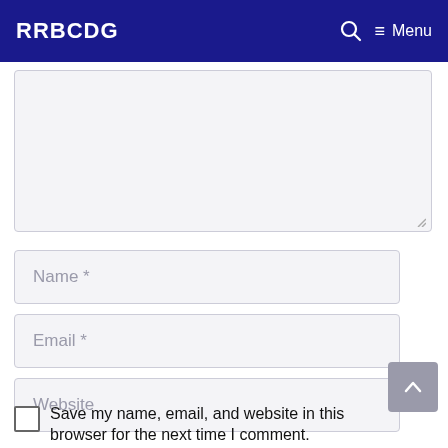RRBCDG  🔍  ≡ Menu
[Figure (screenshot): Comment form textarea field (empty, light grey background with resize handle)]
Name *
Email *
Website
Save my name, email, and website in this browser for the next time I comment.